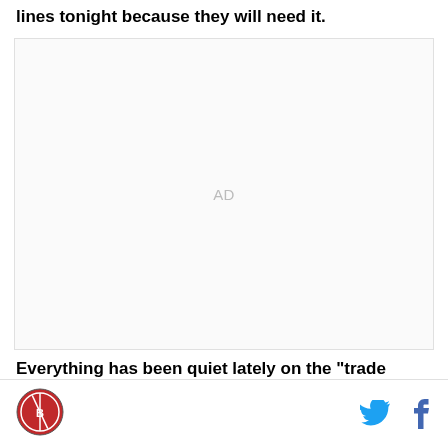lines tonight because they will need it.
[Figure (other): Advertisement placeholder box with 'AD' label in gray text]
Everything has been quiet lately on the "trade
Logo icon | Twitter icon | Facebook icon